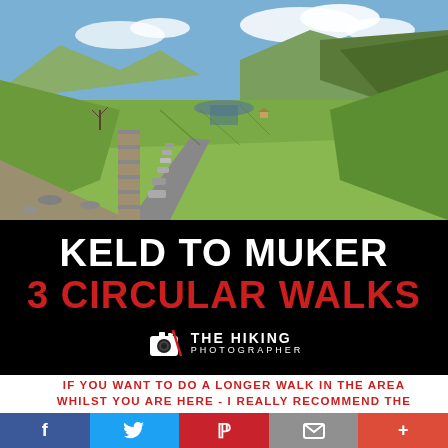[Figure (photo): Aerial view of a green valley with a rocky path/wall running down the foreground, river in the middle distance, rolling hills and patches of woodland under a blue sky — Swaledale, Yorkshire Dales area.]
KELD TO MUKER 3 CIRCULAR WALKS
[Figure (logo): The Hiking Photographer logo: camera icon with compass needle, text 'THE HIKING PHOTOGRAPHER']
IF YOU WANT TO DO A LONGER WALK IN THE AREA WHILST YOU ARE HERE - I REALLY RECOMMEND THE
[Figure (infographic): Social sharing bar with Facebook, Twitter, Pinterest, Email, and More (+) buttons]